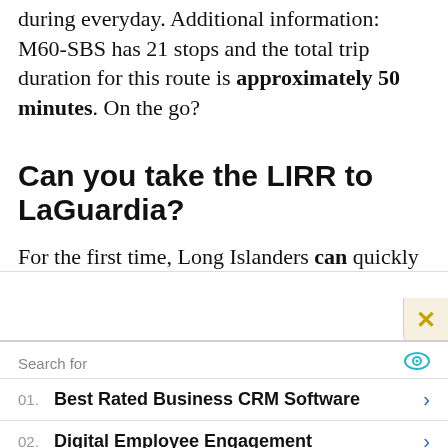during everyday. Additional information: M60-SBS has 21 stops and the total trip duration for this route is approximately 50 minutes. On the go?
Can you take the LIRR to LaGuardia?
For the first time, Long Islanders can quickly
Search for
01. Best Rated Business CRM Software
02. Digital Employee Engagement
Yahoo! Search | Sponsored